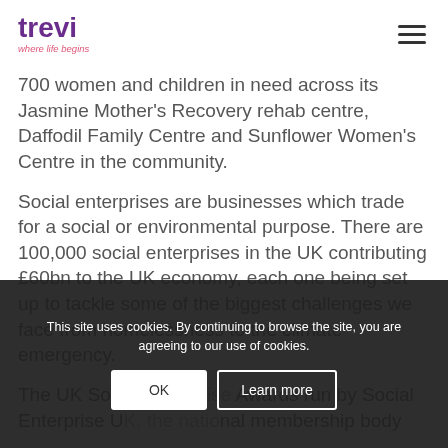trevi — where life begins
700 women and children in need across its Jasmine Mother's Recovery rehab centre, Daffodil Family Centre and Sunflower Women's Centre in the community.
Social enterprises are businesses which trade for a social or environmental purpose. There are 100,000 social enterprises in the UK contributing £60bn to the UK economy, each one being set up to tackle some of the biggest challenges we face from homelessness to the climate emergency.
The UK Soc[ial Enterprise] Awards run by Social Enterprise U[K, the natio]nal membership body [for...]
This site uses cookies. By continuing to browse the site, you are agreeing to our use of cookies.